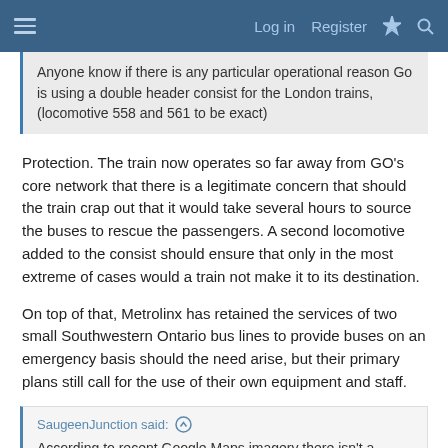≡  Log in  Register  ⚡  🔍
Anyone know if there is any particular operational reason Go is using a double header consist for the London trains, (locomotive 558 and 561 to be exact)
Protection. The train now operates so far away from GO's core network that there is a legitimate concern that should the train crap out that it would take several hours to source the buses to rescue the passengers. A second locomotive added to the consist should ensure that only in the most extreme of cases would a train not make it to its destination.
On top of that, Metrolinx has retained the services of two small Southwestern Ontario bus lines to provide buses on an emergency basis should the need arise, but their primary plans still call for the use of their own equipment and staff.
SaugeenJunction said: ↑
According to recent Google Maps imagery there isn't a switch from the